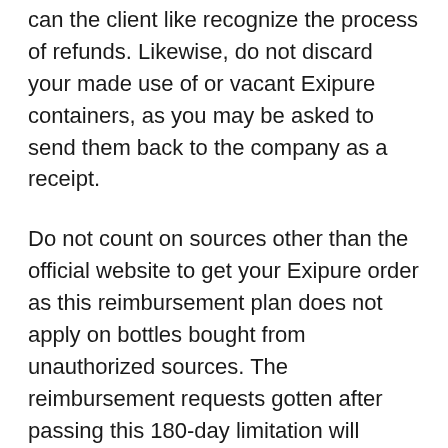can the client like recognize the process of refunds. Likewise, do not discard your made use of or vacant Exipure containers, as you may be asked to send them back to the company as a receipt.
Do not count on sources other than the official website to get your Exipure order as this reimbursement plan does not apply on bottles bought from unauthorized sources. The reimbursement requests gotten after passing this 180-day limitation will certainly be denied by the business, so keep a track of this time.
Instructions To Use Exipure Supplement.